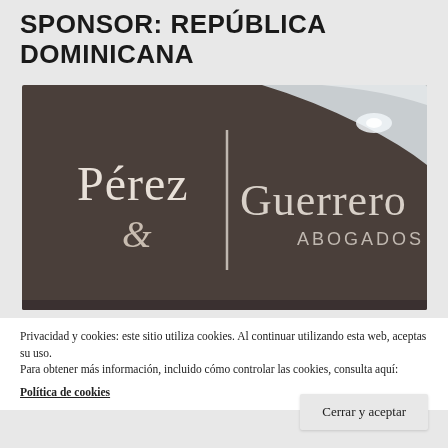SPONSOR: REPÚBLICA DOMINICANA
[Figure (photo): Photo of Pérez & Guerrero Abogados law firm office reception wall sign with the firm name displayed in white serif letters on a dark brown/gray background, with a curved white architectural element in the upper right corner]
Privacidad y cookies: este sitio utiliza cookies. Al continuar utilizando esta web, aceptas su uso.
Para obtener más información, incluido cómo controlar las cookies, consulta aquí:
Política de cookies
Cerrar y aceptar